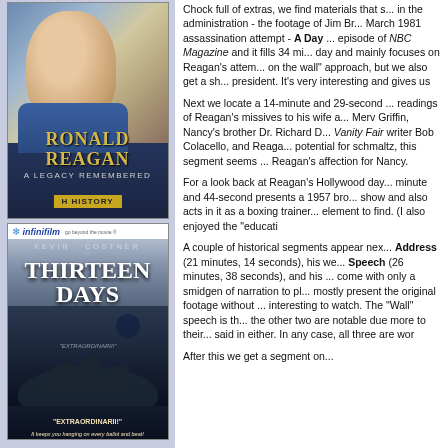[Figure (photo): DVD cover for 'Ronald Reagan: A Legacy Remembered' - History Channel DVD showing Reagan smiling in front of American flag with gold title text]
[Figure (photo): DVD cover for 'Thirteen Days' starring Kevin Costner - Infinifilm edition showing three men in suits against dark background]
Chock full of extras, we find materials that s... in the administration - the footage of Jim Br... March 1981 assassination attempt - A Day ... episode of NBC Magazine and it fills 34 mi... day and mainly focuses on Reagan's attem... on the wall" approach, but we also get a sh... president. It's very interesting and gives us
Next we locate a 14-minute and 29-second ... readings of Reagan's missives to his wife a... Merv Griffin, Nancy's brother Dr. Richard D... Vanity Fair writer Bob Colacello, and Reaga... potential for schmaltz, this segment seems ... Reagan's affection for Nancy.
For a look back at Reagan's Hollywood day... minute and 44-second presents a 1957 bro... show and also acts in it as a boxing trainer... element to find. (I also enjoyed the "educati
A couple of historical segments appear nex... Address (21 minutes, 14 seconds), his we... Speech (26 minutes, 38 seconds), and his ... come with only a smidgen of narration to pl... mostly present the original footage without ... interesting to watch. The "Wall" speech is th... the other two are notable due more to their... said in either. In any case, all three are wor
After this we get a segment on...